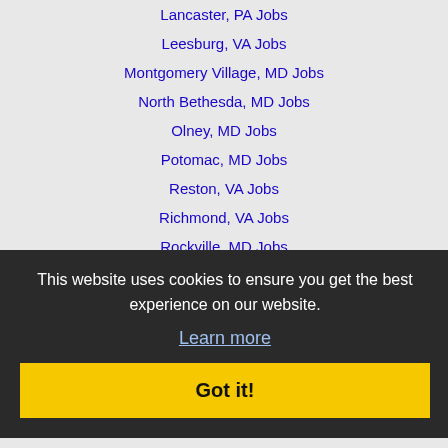Lancaster, PA Jobs
Leesburg, VA Jobs
Montgomery Village, MD Jobs
North Bethesda, MD Jobs
Olney, MD Jobs
Potomac, MD Jobs
Reston, VA Jobs
Richmond, VA Jobs
Rockville, MD Jobs
Severn, MD Jobs
Silver Spring, MD Jobs
Towson, MD Jobs
Woodbridge, VA Jobs
Wheaton-Glenmont, MD Jobs
Wilmington, DE Jobs
This website uses cookies to ensure you get the best experience on our website.
Learn more
Got it!